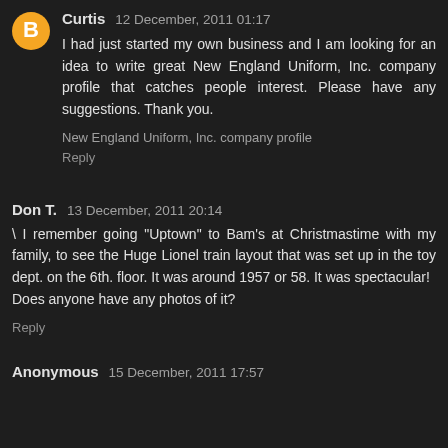Curtis  12 December, 2011 01:17
I had just started my own business and I am looking for an idea to write great New England Uniform, Inc. company profile that catches people interest. Please have any suggestions. Thank you.
New England Uniform, Inc. company profile
Reply
Don T.  13 December, 2011 20:14
\ I remember going "Uptown" to Bam's at Christmastime with my family, to see the Huge Lionel train layout that was set up in the toy dept. on the 6th. floor. It was around 1957 or 58. It was spectacular!
Does anyone have any photos of it?
Reply
Anonymous  15 December, 2011 17:57